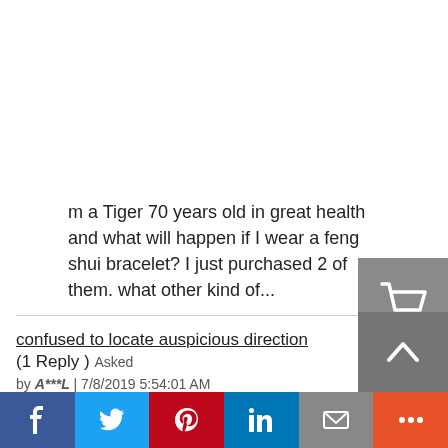m a Tiger 70 years old in great health and what will happen if I wear a feng shui bracelet? I just purchased 2 of them. what other kind of...
confused to locate auspicious direction (1 Reply ) Asked by A***L | 7/8/2019 5:54:01 AM
my kua number is 7 and saying my best direction is west and than i found here about the sleeping direction described like this : 1> According to...
Feng shui apartment for Snake (Jan 1990) and Monkey